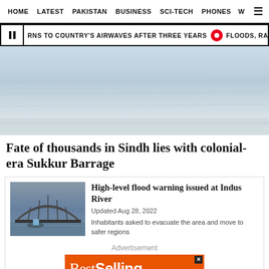HOME  LATEST  PAKISTAN  BUSINESS  SCI-TECH  PHONES  W  ☰
RNS TO COUNTRY'S AIRWAVES AFTER THREE YEARS  •  FLOODS, RAINS KILL OVER 7
[Figure (photo): Blurry/hazy landscape photo, appears to be a waterway or flooded area with light sky]
Fate of thousands in Sindh lies with colonial-era Sukkur Barrage
[Figure (photo): Photo of a steel arch bridge over a river with a small boat in the foreground]
High-level flood warning issued at Indus River
Updated Aug 28, 2022
Inhabitants asked to evacuate the area and move to safer regions
Advertisement
[Figure (other): Orange advertisement banner reading 'Best Selling']